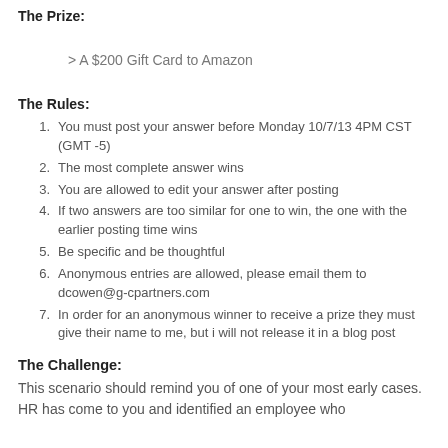The Prize:
> A $200 Gift Card to Amazon
The Rules:
1. You must post your answer before Monday 10/7/13 4PM CST (GMT -5)
2. The most complete answer wins
3. You are allowed to edit your answer after posting
4. If two answers are too similar for one to win, the one with the earlier posting time wins
5. Be specific and be thoughtful
6. Anonymous entries are allowed, please email them to dcowen@g-cpartners.com
7. In order for an anonymous winner to receive a prize they must give their name to me, but i will not release it in a blog post
The Challenge:
This scenario should remind you of one of your most early cases. HR has come to you and identified an employee who